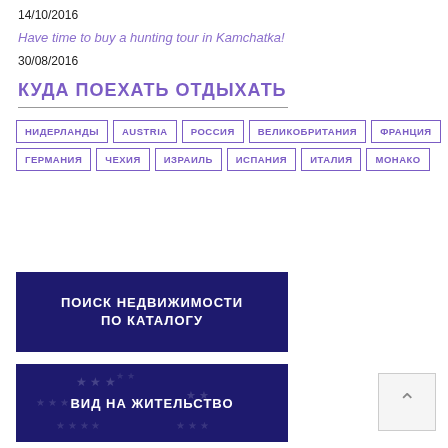14/10/2016
Have time to buy a hunting tour in Kamchatka!
30/08/2016
КУДА ПОЕХАТЬ ОТДЫХАТЬ
НИДЕРЛАНДЫ
AUSTRIA
РОССИЯ
ВЕЛИКОБРИТАНИЯ
ФРАНЦИЯ
ГЕРМАНИЯ
ЧЕХИЯ
ИЗРАИЛЬ
ИСПАНИЯ
ИТАЛИЯ
МОНАКО
[Figure (other): Dark blue banner with white bold text: ПОИСК НЕДВИЖИМОСТИ ПО КАТАЛОГУ]
[Figure (other): Dark blue banner with star pattern and white bold text: ВИД НА ЖИТЕЛЬСТВО]
[Figure (other): Back to top button with chevron up arrow]